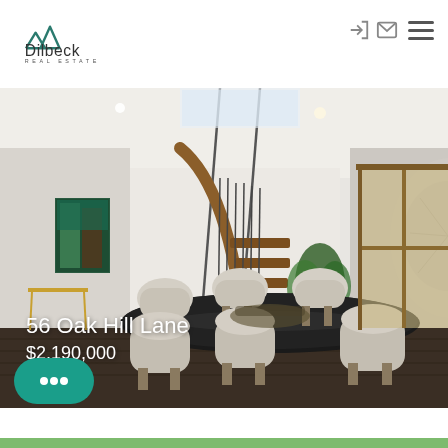[Figure (logo): Dilbeck Real Estate logo with house/mountain outline icon and text]
[Figure (photo): Interior photo of a modern luxury home dining room with staircase, set dining table with cream chairs, white walls, wooden accents, and large windows]
56 Oak Hill Lane
$2,190,000
[Figure (other): Chat bubble button (teal rounded rectangle with three dots)]
[Figure (other): Green bottom strip / thumbnail preview of next listing]